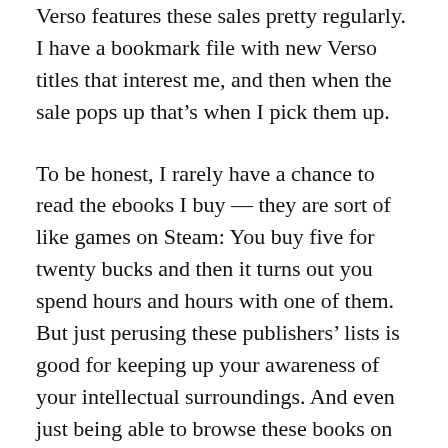Verso features these sales pretty regularly. I have a bookmark file with new Verso titles that interest me, and then when the sale pops up that’s when I pick them up.
To be honest, I rarely have a chance to read the ebooks I buy — they are sort of like games on Steam: You buy five for twenty bucks and then it turns out you spend hours and hours with one of them. But just perusing these publishers’ lists is good for keeping up your awareness of your intellectual surroundings. And even just being able to browse these books on your computer can help expand your mind and make some new intellectual connections. As someone in an apartment on an island, I ran out of room for physical books long ago. I’ve